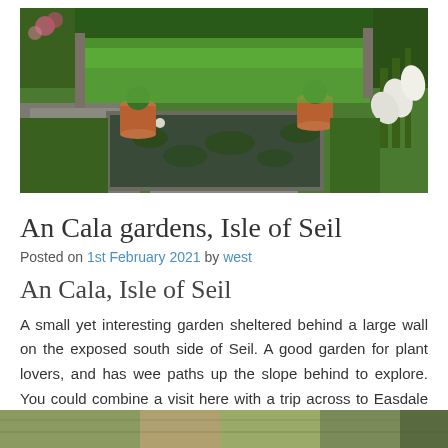[Figure (photo): Garden photo showing a stone-edged lily pond with terracotta pots and lush green lawn and plantings at An Cala gardens, Isle of Seil]
An Cala gardens, Isle of Seil
Posted on 1st February 2021 by west
An Cala, Isle of Seil
A small yet interesting garden sheltered behind a large wall on the exposed south side of Seil. A good garden for plant lovers, and has wee paths up the slope behind to explore. You could combine a visit here with a trip across to Easdale Island, or to the gardens at Ardmaddy castle that you pass on the way back up the road to Oban.
[Figure (photo): Partial bottom photo of the garden]